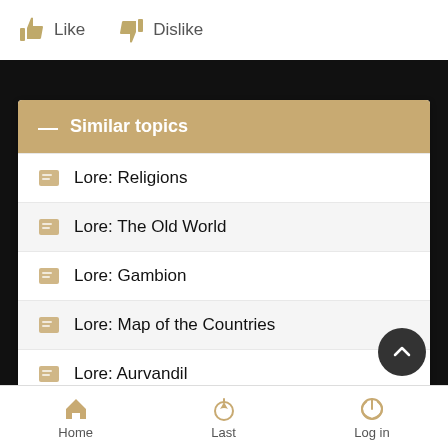Like   Dislike
Similar topics
Lore: Religions
Lore: The Old World
Lore: Gambion
Lore: Map of the Countries
Lore: Aurvandil
Home   Last   Log in